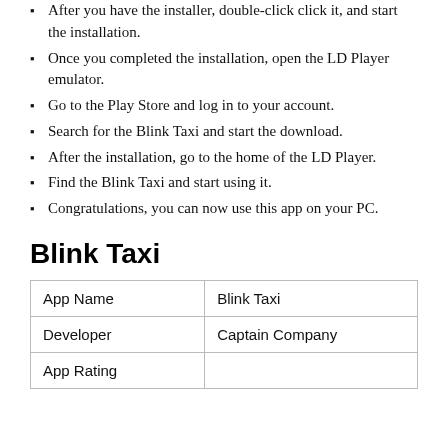After you have the installer, double-click click it, and start the installation.
Once you completed the installation, open the LD Player emulator.
Go to the Play Store and log in to your account.
Search for the Blink Taxi and start the download.
After the installation, go to the home of the LD Player.
Find the Blink Taxi and start using it.
Congratulations, you can now use this app on your PC.
Blink Taxi
| App Name | Blink Taxi |
| Developer | Captain Company |
| App Rating |  |